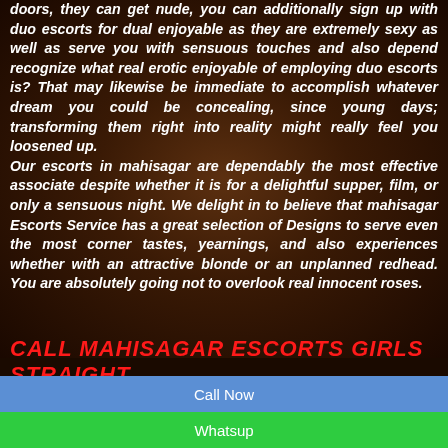doors, they can get nude, you can additionally sign up with duo escorts for dual enjoyable as they are extremely sexy as well as serve you with sensuous touches and also depend recognize what real erotic enjoyable of employing duo escorts is? That may likewise be immediate to accomplish whatever dream you could be concealing, since young days; transforming them right into reality might really feel you loosened up. Our escorts in mahisagar are dependably the most effective associate despite whether it is for a delightful supper, film, or only a sensuous night. We delight in to believe that mahisagar Escorts Service has a great selection of Designs to serve even the most corner tastes, yearnings, and also experiences whether with an attractive blonde or an unplanned redhead. You are absolutely going not to overlook real innocent roses.
CALL MAHISAGAR ESCORTS GIRLS STRAIGHT
Call Now
Whatsup